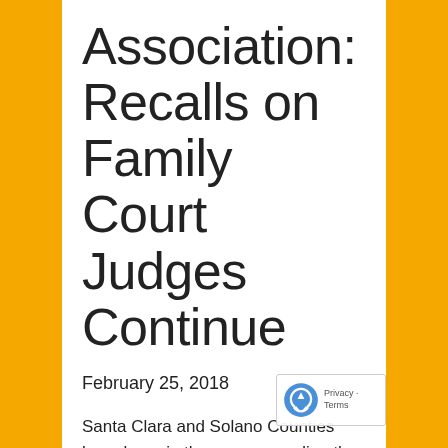Association: Recalls on Family Court Judges Continue
February 25, 2018
Santa Clara and Solano Counties have been in the news regarding the recall of judges. One recall has made it to the ballot, the first recal...